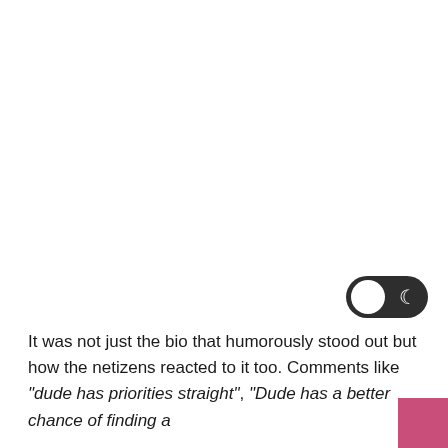It was not just the bio that humorously stood out but how the netizens reacted to it too. Comments like “dude has priorities straight”, “Dude has a better chance of finding a
[Figure (other): Dark mode toggle switch (pill-shaped toggle with moon icon on dark background, white circle on left side) positioned over the text]
[Figure (other): Pink/coral colored rectangular strip at the bottom-right corner of the page]